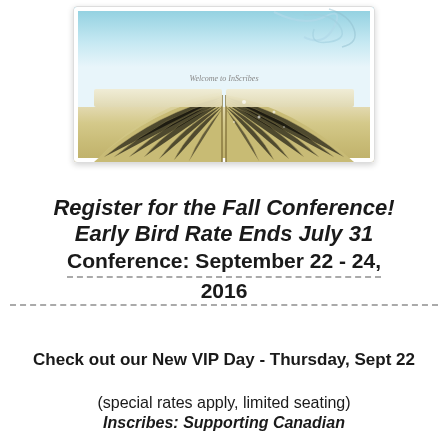[Figure (photo): Open book photo with light blue sky and sparkles background, text 'Welcome to InScribes' on page]
Register for the Fall Conference! Early Bird Rate Ends July 31 Conference: September 22 - 24, 2016
Check out our New VIP Day - Thursday, Sept 22
(special rates apply, limited seating)
Inscribes: Supporting Canadian